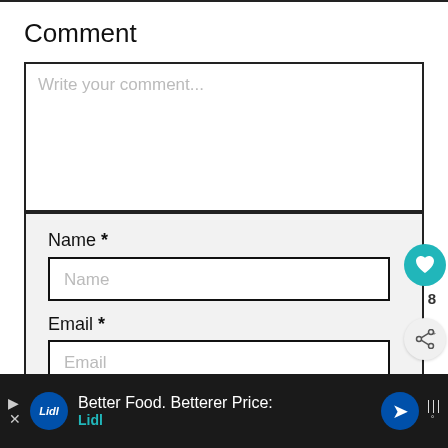Comment
Write your comment...
Name *
Name
Email *
Email
[Figure (other): Heart/like button (teal circle with heart icon) showing count 8, and a share button (grey circle with share icon)]
[Figure (other): WHAT'S NEXT promotional widget with thumbnail image and text 'Peppermint Mocha...']
[Figure (other): Advertisement banner for Lidl: 'Better Food. Betterer Price: Lidl' with Lidl logo and navigation arrows]